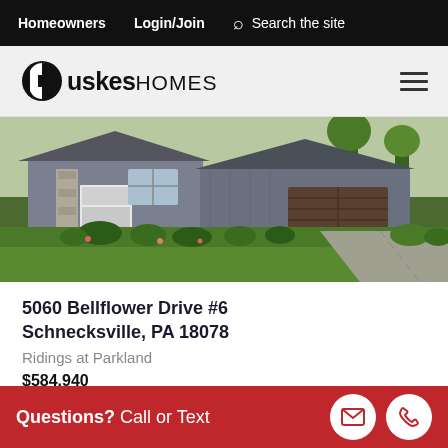Homeowners  Login/Join  Search the site
[Figure (logo): Duskes Homes logo with shield icon]
[Figure (photo): Front exterior rendering of a single-family home with gray siding, attached garage, landscaped lawn with shrubs, and concrete driveway]
5060 Bellflower Drive #6
Schnecksville, PA 18078
Ridings at Parkland
$584,940
Questions? Call or Text